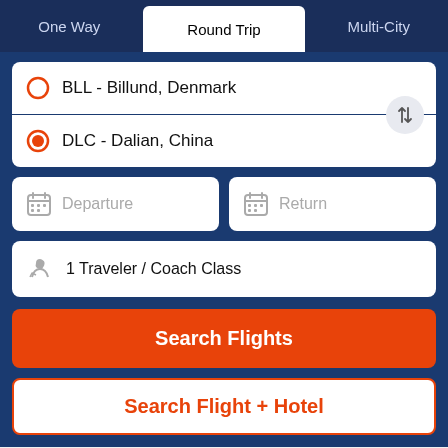One Way | Round Trip | Multi-City
BLL - Billund, Denmark
DLC - Dalian, China
Departure
Return
1 Traveler / Coach Class
Search Flights
Search Flight + Hotel
Found these Great Deals for your next trip